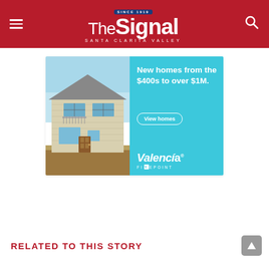The Signal — Santa Clarita Valley
[Figure (advertisement): Valencia FivePoint new homes advertisement. Left half shows a photo of a modern two-story beige house with large windows and a balcony. Right half has a teal/cyan background with white text: 'New homes from the $400s to over $1M.' with a 'View homes' button, and the Valencia FivePoint brand logo.]
RELATED TO THIS STORY